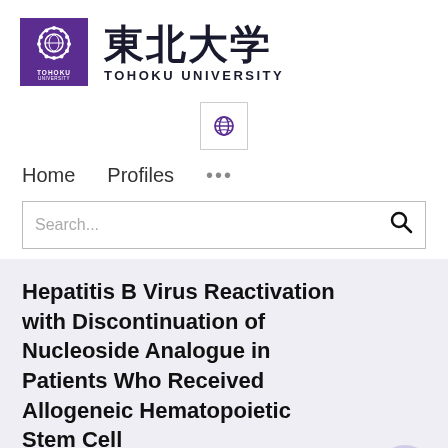[Figure (logo): Tohoku University logo: purple square with white circular crest, Japanese kanji text 東北大学 and TOHOKU UNIVERSITY wordmark]
[Figure (other): Globe/language selector icon in a bordered square button]
Home   Profiles   ...
Search...
Hepatitis B Virus Reactivation with Discontinuation of Nucleoside Analogue in Patients Who Received Allogeneic Hematopoietic Stem Cell